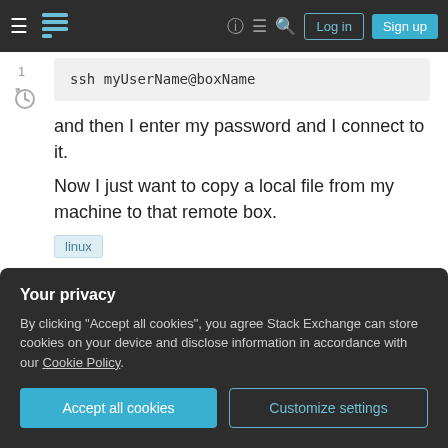Stack Exchange navigation bar with Log in and Sign up buttons
ssh myUserName@boxName
and then I enter my password and I connect to it.
Now I just want to copy a local file from my machine to that remote box.
linux
Your privacy
By clicking "Accept all cookies", you agree Stack Exchange can store cookies on your device and disclose information in accordance with our Cookie Policy.
Accept all cookies | Customize settings